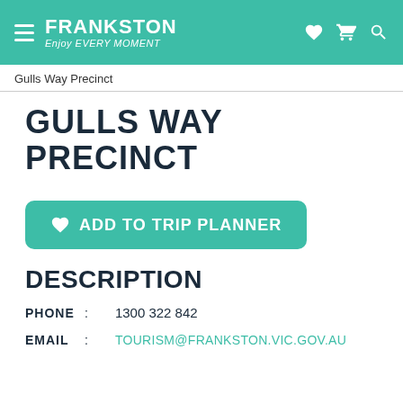FRANKSTON Enjoy Every Moment
Gulls Way Precinct
GULLS WAY PRECINCT
ADD TO TRIP PLANNER
DESCRIPTION
PHONE: 1300 322 842
EMAIL: TOURISM@FRANKSTON.VIC.GOV.AU